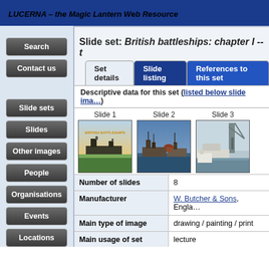LUCERNA – the Magic Lantern Web Resource
Search
Contact us
Slide set: British battleships: chapter I -- t
Set details | Slide listing | References to this set
Descriptive data for this set (listed below slide images)
[Figure (photo): Slide 1 – title card reading British Battleships with illustrated battleship]
[Figure (photo): Slide 2 – battleships in harbour, colour painting]
[Figure (photo): Slide 3 – ships with crane, photographic]
| Field | Value |
| --- | --- |
| Number of slides | 8 |
| Manufacturer | W. Butcher & Sons, England |
| Main type of image | drawing / painting / print |
| Main usage of set | lecture |
| Date of first manufacture | 1909 |
| Reading or song | 'British battleships: chapter |
Slide sets
Slides
Other images
People
Organisations
Events
Locations